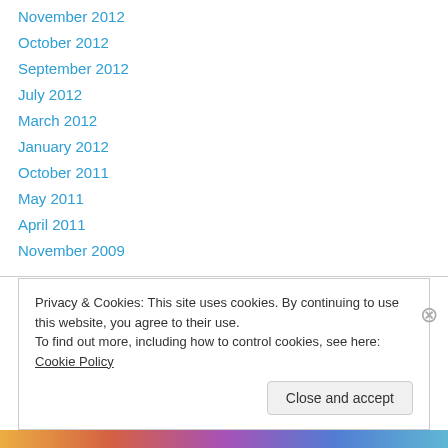November 2012
October 2012
September 2012
July 2012
March 2012
January 2012
October 2011
May 2011
April 2011
November 2009
Tags
Privacy & Cookies: This site uses cookies. By continuing to use this website, you agree to their use.
To find out more, including how to control cookies, see here: Cookie Policy
Close and accept